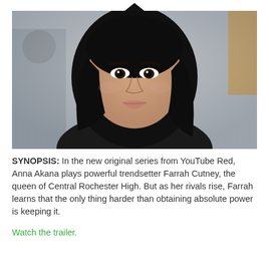▲ (YouTube Red logo/chevron)
[Figure (photo): Close-up portrait photo of a young woman with long dark hair, looking directly at the camera with a neutral expression. Background is blurred showing an indoor setting.]
SYNOPSIS: In the new original series from YouTube Red, Anna Akana plays powerful trendsetter Farrah Cutney, the queen of Central Rochester High. But as her rivals rise, Farrah learns that the only thing harder than obtaining absolute power is keeping it.
Watch the trailer.